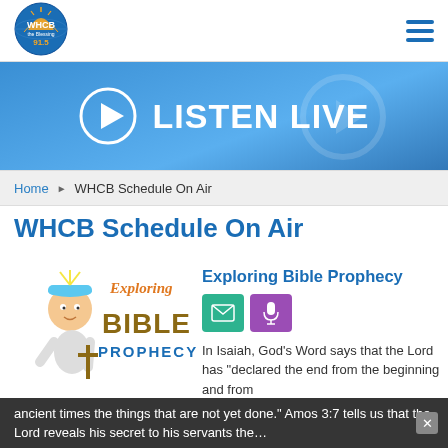WHCB the Blessing 91.5 — navigation header with logo and hamburger menu
[Figure (illustration): WHCB 91.5 The Blessing radio station logo — circular badge with globe, orange/yellow sunrise, blue text]
[Figure (illustration): Listen Live button — play icon circle and bold white 'LISTEN LIVE' text on blue gradient background]
Home ▶ WHCB Schedule On Air
WHCB Schedule On Air
[Figure (illustration): Exploring Bible Prophecy show logo — cartoon character with hard hat holding a cross/tool, stylized text 'Exploring BIBLE PROPHECY']
Exploring Bible Prophecy
In Isaiah, God's Word says that the Lord has "declared the end from the beginning and from ancient times the things that are not yet done." Amos 3:7 tells us that the Lord reveals his secret to his servants the…